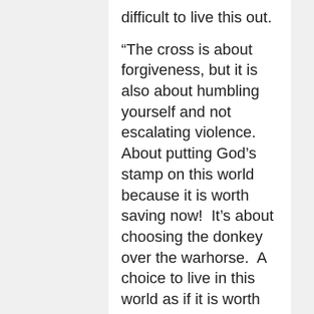difficult to live this out.
“The cross is about forgiveness, but it is also about humbling yourself and not escalating violence.  About putting God’s stamp on this world because it is worth saving now!  It’s about choosing the donkey over the warhorse.  A choice to live in this world as if it is worth saving.  How you live now matters because this world matters to God.  The Apostle Peter calls it a new birth, so we can do over all of our failures and live as if we are worth something.